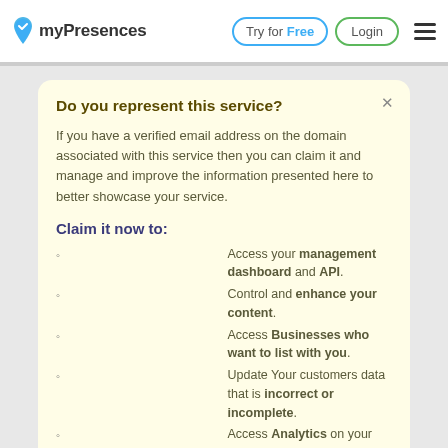myPresences | Try for Free | Login
Do you represent this service?
If you have a verified email address on the domain associated with this service then you can claim it and manage and improve the information presented here to better showcase your service.
Claim it now to:
Access your management dashboard and API.
Control and enhance your content.
Access Businesses who want to list with you.
Update Your customers data that is incorrect or incomplete.
Access Analytics on your service.
Let proactive businesses know more about your service.